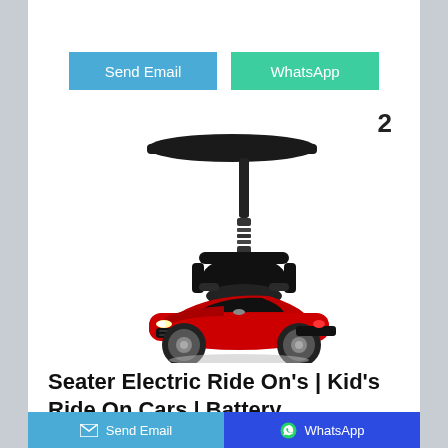[Figure (other): Two buttons: blue 'Send Email' and green 'WhatsApp']
[Figure (photo): A child's ride-on electric car in red with a black canopy/stroller handle attachment, resembling a luxury sports car]
2
Seater Electric Ride On's | Kid's Ride On Cars | Battery ...
[Figure (other): Bottom bar with 'Send Email' (blue with envelope icon) and 'WhatsApp' (dark blue with WhatsApp icon) buttons]